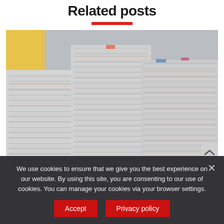Related posts
[Figure (photo): Large stacks of paper documents and files piled high in an office setting, with a yellow folder visible on the left side.]
We use cookies to ensure that we give you the best experience on our website. By using this site, you are consenting to our use of cookies. You can manage your cookies via your browser settings.
Accept | Privacy policy